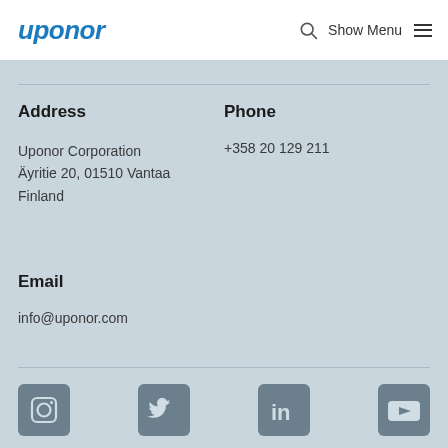uponor — Show Menu
Address
Uponor Corporation
Äyritie 20, 01510 Vantaa
Finland
Phone
+358 20 129 211
Email
info@uponor.com
[Figure (other): Row of four social media icons: Instagram, Twitter, LinkedIn, YouTube — dark grey rounded square buttons]
©2023 All rights reserved. Uponor Corporation — legal notice